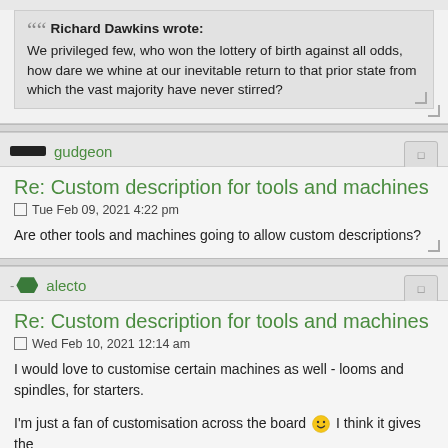Richard Dawkins wrote: We privileged few, who won the lottery of birth against all odds, how dare we whine at our inevitable return to that prior state from which the vast majority have never stirred?
gudgeon
Re: Custom description for tools and machines
Tue Feb 09, 2021 4:22 pm
Are other tools and machines going to allow custom descriptions?
alecto
Re: Custom description for tools and machines
Wed Feb 10, 2021 12:14 am
I would love to customise certain machines as well - looms and spindles, for starters.
I'm just a fan of customisation across the board 😀 I think it gives the